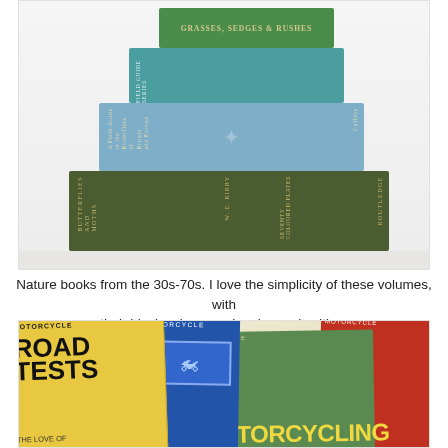[Figure (photo): A stack of vintage nature books with block colour covers in green, blue and teal. Books visible: 'Butterflies and Moths' by W.E. Kirby (Routledge, olive green), 'A Field Guide to the Butterflies of Britain and Europe' (light blue, Collins), a teal book, and 'Grasses, Sedges & Rushes' (dark green, top). Books are photographed spine-up against a white background.]
Nature books from the 30s-70s. I love the simplicity of these volumes, with their block colours and embossed writing.
[Figure (photo): A collage of vintage motorcycle books and magazines fanned out, showing colourful covers. Titles visible include 'Motorcycle Road Tests', 'The Love of Motorcycling', and similar publications with bold 1950s-60s graphic design in yellow, red, blue and green.]